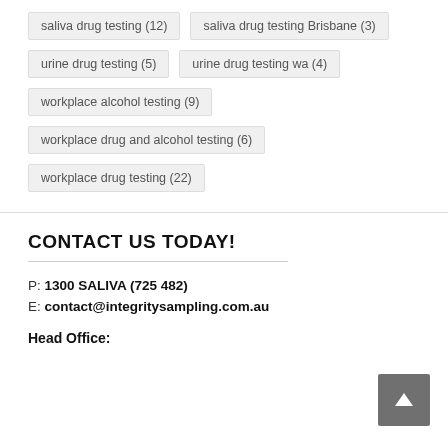saliva drug testing (12)
saliva drug testing Brisbane (3)
urine drug testing (5)
urine drug testing wa (4)
workplace alcohol testing (9)
workplace drug and alcohol testing (6)
workplace drug testing (22)
CONTACT US TODAY!
P: 1300 SALIVA (725 482)
E: contact@integritysampling.com.au
Head Office: